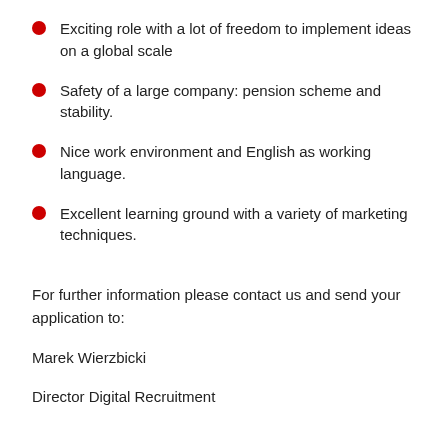Exciting role with a lot of freedom to implement ideas on a global scale
Safety of a large company: pension scheme and stability.
Nice work environment and English as working language.
Excellent learning ground with a variety of marketing techniques.
For further information please contact us and send your application to:
Marek Wierzbicki
Director Digital Recruitment